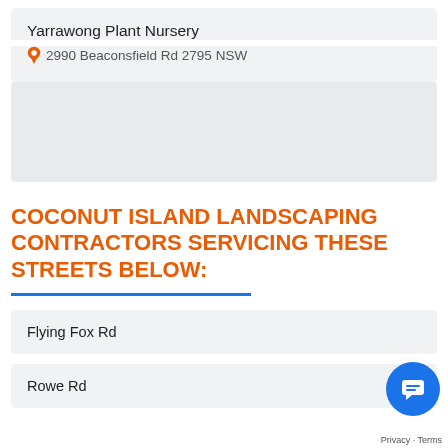Yarrawong Plant Nursery
2990 Beaconsfield Rd 2795 NSW
COCONUT ISLAND LANDSCAPING CONTRACTORS SERVICING THESE STREETS BELOW:
Flying Fox Rd
Rowe Rd